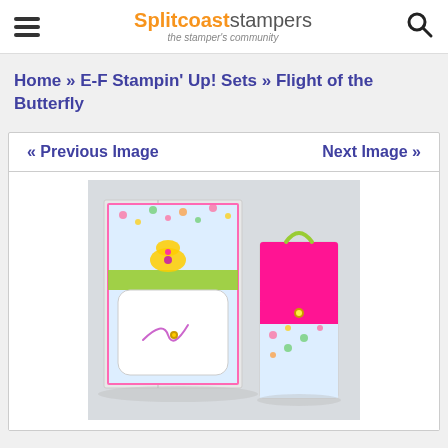Splitcoaststampers — the stamper's community
Home » E-F Stampin' Up! Sets » Flight of the Butterfly
« Previous Image    Next Image »
[Figure (photo): A handmade stamped greeting card with floral patterned paper, green ribbon, and a butterfly motif beside a matching pink mini gift bag with floral accents, on a light surface.]